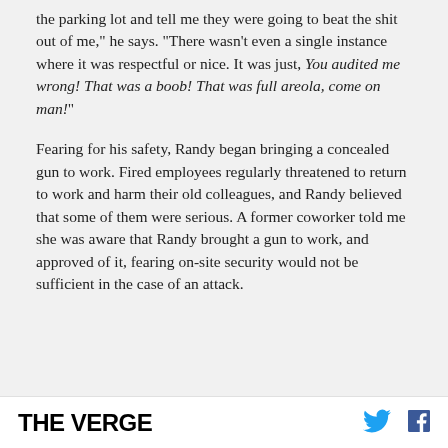the parking lot and tell me they were going to beat the shit out of me," he says. "There wasn't even a single instance where it was respectful or nice. It was just, You audited me wrong! That was a boob! That was full areola, come on man!"
Fearing for his safety, Randy began bringing a concealed gun to work. Fired employees regularly threatened to return to work and harm their old colleagues, and Randy believed that some of them were serious. A former coworker told me she was aware that Randy brought a gun to work, and approved of it, fearing on-site security would not be sufficient in the case of an attack.
THE VERGE